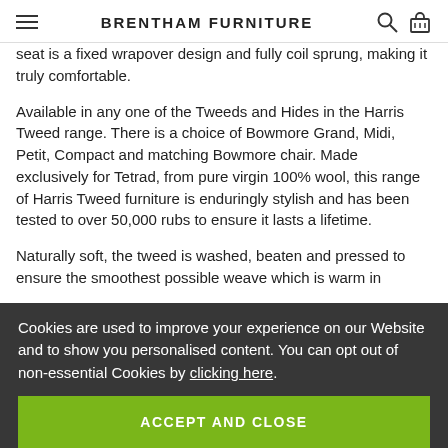BRENTHAM FURNITURE
seat is a fixed wrapover design and fully coil sprung, making it truly comfortable.
Available in any one of the Tweeds and Hides in the Harris Tweed range. There is a choice of Bowmore Grand, Midi, Petit, Compact and matching Bowmore chair. Made exclusively for Tetrad, from pure virgin 100% wool, this range of Harris Tweed furniture is enduringly stylish and has been tested to over 50,000 rubs to ensure it lasts a lifetime.
Naturally soft, the tweed is washed, beaten and pressed to ensure the smoothest possible weave which is warm in
Cookies are used to improve your experience on our Website and to show you personalised content. You can opt out of non-essential Cookies by clicking here.
ACCEPT AND CLOSE